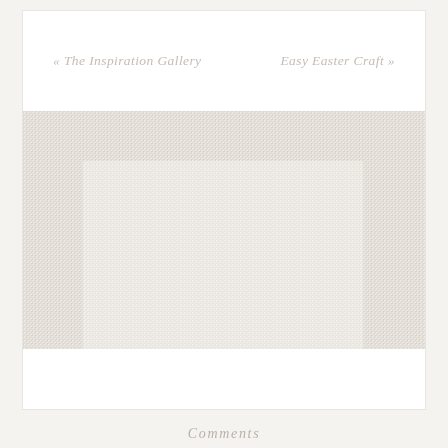« The Inspiration Gallery    Easy Easter Craft »
[Figure (photo): Large textured light beige/cream knitted or woven fabric texture filling most of the card area, with a faint lighter rectangular area in the center suggesting a photo placeholder]
Comments